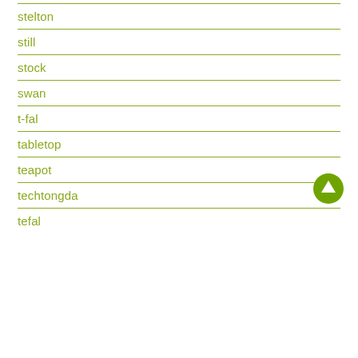stelton
still
stock
swan
t-fal
tabletop
teapot
techtongda
tefal